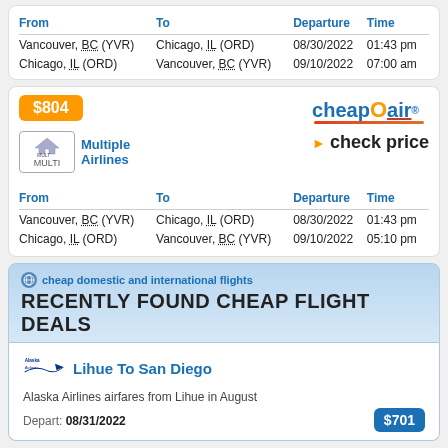| From | To | Departure | Time |
| --- | --- | --- | --- |
| Vancouver, BC (YVR) | Chicago, IL (ORD) | 08/30/2022 | 01:43 pm |
| Chicago, IL (ORD) | Vancouver, BC (YVR) | 09/10/2022 | 07:00 am |
$804
[Figure (logo): CheapOair logo]
Multiple Airlines
check price
| From | To | Departure | Time |
| --- | --- | --- | --- |
| Vancouver, BC (YVR) | Chicago, IL (ORD) | 08/30/2022 | 01:43 pm |
| Chicago, IL (ORD) | Vancouver, BC (YVR) | 09/10/2022 | 05:10 pm |
cheap domestic and international flights
RECENTLY FOUND CHEAP FLIGHT DEALS
Lihue To San Diego
Alaska Airlines airfares from Lihue in August
Depart: 08/31/2022
$701